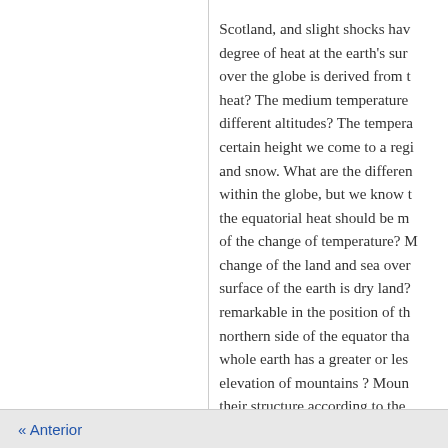Scotland, and slight shocks have degree of heat at the earth's surf over the globe is derived from th heat? The medium temperature different altitudes? The tempera certain height we come to a regi and snow. What are the differen within the globe, but we know t the equatorial heat should be mu of the change of temperature? M change of the land and sea over surface of the earth is dry land? remarkable in the position of thi northern side of the equator tha whole earth has a greater or less elevation of mountains ? Mount their structure according to the p elevation of mountain ranges af mountains certain rivers take th different seas. Which are the mo of India, which are 27,677 feet h in Europe ? Mont Blanc 15,665
« Anterior